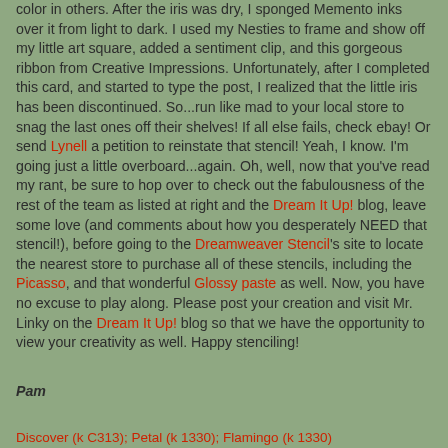color in others. After the iris was dry, I sponged Memento inks over it from light to dark. I used my Nesties to frame and show off my little art square, added a sentiment clip, and this gorgeous ribbon from Creative Impressions. Unfortunately, after I completed this card, and started to type the post, I realized that the little iris has been discontinued. So...run like mad to your local store to snag the last ones off their shelves! If all else fails, check ebay! Or send Lynell a petition to reinstate that stencil! Yeah, I know. I'm going just a little overboard...again. Oh, well, now that you've read my rant, be sure to hop over to check out the fabulousness of the rest of the team as listed at right and the Dream It Up! blog, leave some love (and comments about how you desperately NEED that stencil!), before going to the Dreamweaver Stencil's site to locate the nearest store to purchase all of these stencils, including the Picasso, and that wonderful Glossy paste as well. Now, you have no excuse to play along. Please post your creation and visit Mr. Linky on the Dream It Up! blog so that we have the opportunity to view your creativity as well. Happy stenciling!
Pam
Discover (k C313); Petal (k 1330); Flamingo (k 1330)